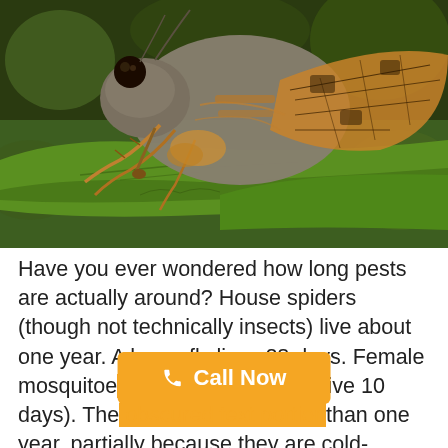[Figure (photo): Close-up macro photograph of a cicada insect with orange and black patterned wings perched on a green leaf, against a blurred green background.]
Have you ever wondered how long pests are actually around? House spiders (though not technically insects) live about one year. A housefly lives 28 days. Female mosquitoes (only live 10 days). The [text obscured] than one year, partially because they are cold-blooded and can't